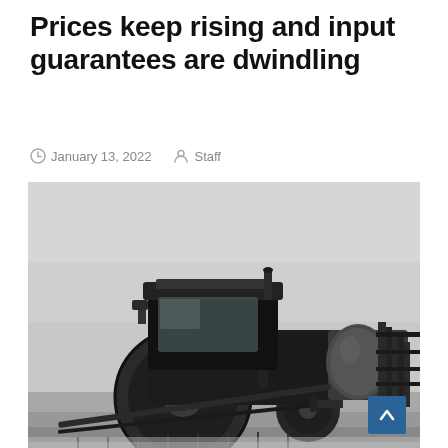Prices keep rising and input guarantees are dwindling
January 13, 2022  Staff
[Figure (photo): Black and white photograph of a farm tractor with an attached sprayer/tank equipment, viewed from a low angle against a grey overcast sky.]